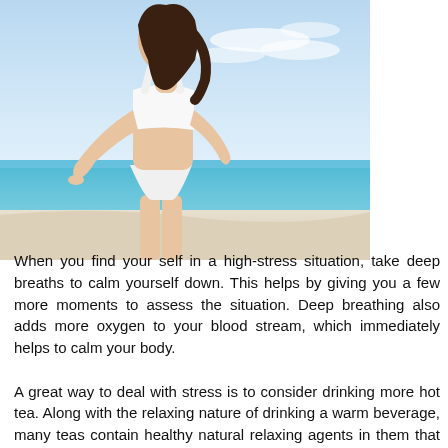[Figure (photo): A woman in a white sports bra and white shorts standing on a beach with blue ocean and sky in the background.]
When you find your self in a high-stress situation, take deep breaths to calm yourself down. This helps by giving you a few more moments to assess the situation. Deep breathing also adds more oxygen to your blood stream, which immediately helps to calm your body.

A great way to deal with stress is to consider drinking more hot tea. Along with the relaxing nature of drinking a warm beverage, many teas contain healthy natural relaxing agents in them that can help to soothe you. Check out a variety of teas and see which suit you the best.